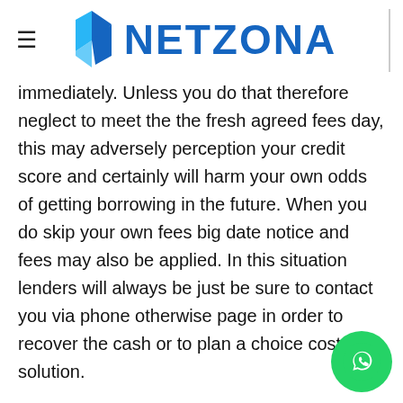NETZONA
immediately. Unless you do that therefore neglect to meet the the fresh agreed fees day, this may adversely perception your credit score and certainly will harm your own odds of getting borrowing in the future. When you do skip your own fees big date notice and fees may also be applied. In this situation lenders will always be just be sure to contact you via phone otherwise page in order to recover the cash or to plan a choice cost solution.
Late Commission: For which you believe you have got any issue in the paying off your loan to your pre-arranged date, just be sure to get hold of your bank instantly. It is possible to help you rearrange their payment date to a good more